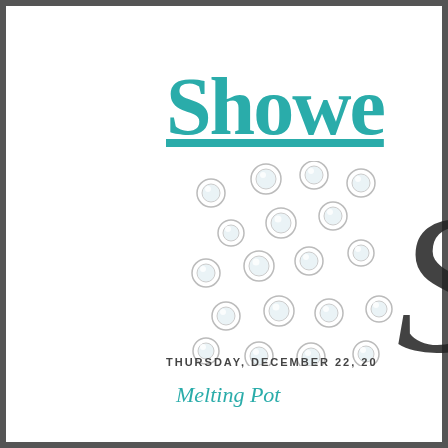Showe
[Figure (illustration): Decorative shower head with water droplets rendered as diamond/crystal gems, and a large decorative italic S in dark color on the right side]
THURSDAY, DECEMBER 22, 20
Melting Pot